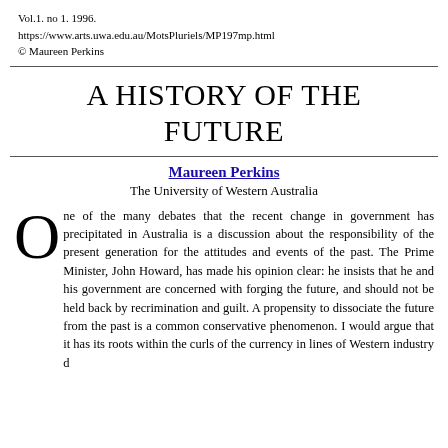Vol.1. no 1. 1996.
https://www.arts.uwa.edu.au/MotsPluriels/MP197mp.html
© Maureen Perkins
A HISTORY OF THE FUTURE
Maureen Perkins
The University of Western Australia
One of the many debates that the recent change in government has precipitated in Australia is a discussion about the responsibility of the present generation for the attitudes and events of the past. The Prime Minister, John Howard, has made his opinion clear: he insists that he and his government are concerned with forging the future, and should not be held back by recrimination and guilt. A propensity to dissociate the future from the past is a common conservative phenomenon. I would argue that it has its roots within the curls of the currency in lines of Western industry d...